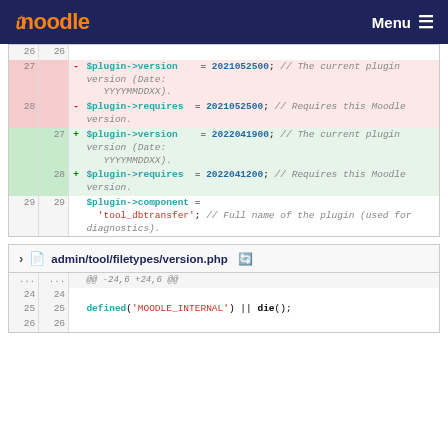moodle | Menu
| old | new |  | code |
| --- | --- | --- | --- |
| 26 | 26 |  |  |
| 27 |  | - | $plugin->version    = 2021052500; // The current plugin version (Date: YYYYMMDDXX). |
| 28 |  | - | $plugin->requires  = 2021052500; // Requires this Moodle version. |
|  | 27 | + | $plugin->version    = 2022041900; // The current plugin version (Date: YYYYMMDDXX). |
|  | 28 | + | $plugin->requires  = 2022041200; // Requires this Moodle version. |
| 29 | 29 |  | $plugin->component = 'tool_dbtransfer'; // Full name of the plugin (used for diagnostics). |
admin/tool/filetypes/version.php
| old | new |  | code |
| --- | --- | --- | --- |
| ... | ... |  | @@ -24,6 +24,6 @@ |
| 24 | 24 |  |  |
| 25 | 25 |  | defined('MOODLE_INTERNAL') || die(); |
| 26 | 26 |  |  |